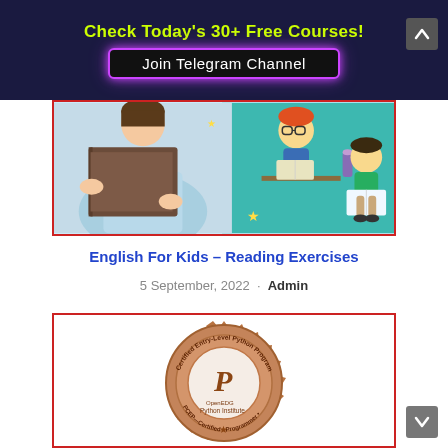Check Today's 30+ Free Courses!
Join Telegram Channel
[Figure (illustration): Banner image showing children reading books, with a real child holding a book on the left and cartoon children studying on the right]
English For Kids – Reading Exercises
5 September, 2022 · Admin
[Figure (illustration): PCEP – Certified Entry-Level Python Programmer badge/seal from OpenEDG Python Institute, bronze/copper colored circular seal]